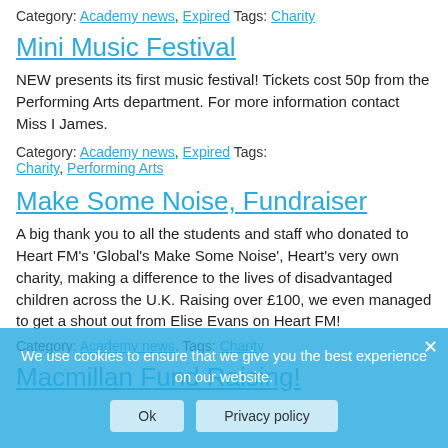Category: Academy news, Expired Tags: Charity
Mini Music Festival
NEW presents its first music festival! Tickets cost 50p from the Performing Arts department. For more information contact Miss I James.
Category: Academy news, Expired Tags: Charity, Performing Arts
Make Some Noise, Fundraiser
A big thank you to all the students and staff who donated to Heart FM's 'Global's Make Some Noise', Heart's very own charity, making a difference to the lives of disadvantaged children across the U.K. Raising over £100, we even managed to get a shout out from Elise Evans on Heart FM!
Category: Academy news Tags: Charity
Macmillan Fund Raising!
We use cookies to ensure that we give you the best experience on our website.